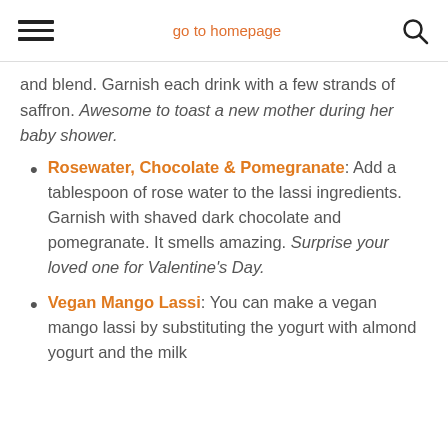go to homepage
and blend. Garnish each drink with a few strands of saffron. Awesome to toast a new mother during her baby shower.
Rosewater, Chocolate & Pomegranate: Add a tablespoon of rose water to the lassi ingredients. Garnish with shaved dark chocolate and pomegranate. It smells amazing. Surprise your loved one for Valentine's Day.
Vegan Mango Lassi: You can make a vegan mango lassi by substituting the yogurt with almond yogurt and the milk